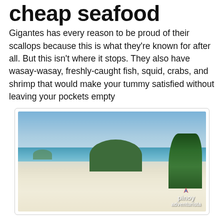cheap seafood
Gigantes has every reason to be proud of their scallops because this is what they're known for after all. But this isn't where it stops. They also have wasay-wasay, freshly-caught fish, squid, crabs, and shrimp that would make your tummy satisfied without leaving your pockets empty
[Figure (photo): Beach scene with white sandy shore, turquoise sea, a green tree-covered island rocky hill in the background, palm trees on the right, and a 'pinoy adventurista' watermark in the bottom right corner.]